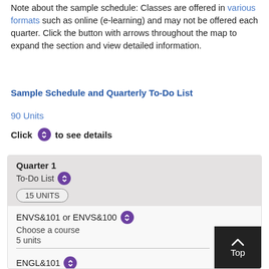Note about the sample schedule: Classes are offered in various formats such as online (e-learning) and may not be offered each quarter. Click the button with arrows throughout the map to expand the section and view detailed information.
Sample Schedule and Quarterly To-Do List
90 Units
Click  to see details
| Quarter 1 | To-Do List | 15 UNITS |
| ENVS&101 or ENVS&100 | Choose a course | 5 units |
| ENGL&101 |